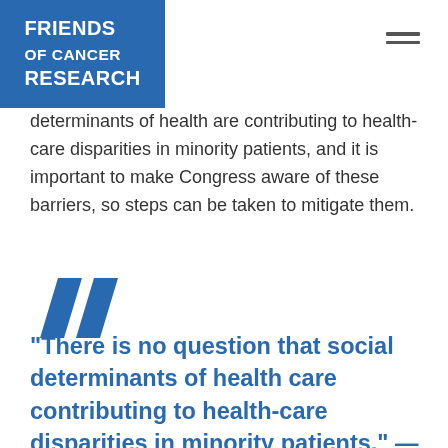Friends of Cancer Research
determinants of health are contributing to health-care disparities in minority patients, and it is important to make Congress aware of these barriers, so steps can be taken to mitigate them.
[Figure (illustration): Large blue stylized double quotation mark graphic]
“There is no question that social determinants of health care contributing to health-care disparities in minority patients.” — Lori J. Pierce, MD, FASTRO, FASCO